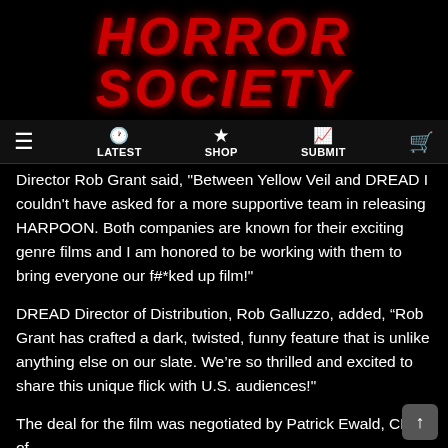HORROR SOCIETY
LATEST  SHOP  SUBMIT
Director Rob Grant said, "Between Yellow Veil and DREAD I couldn't have asked for a more supportive team in releasing HARPOON. Both companies are known for their exciting genre films and I am honored to be working with them to bring everyone our f#*ked up film!"
DREAD Director of Distribution, Rob Galluzzo, added, “Rob Grant has crafted a dark, twisted, funny feature that is unlike anything else on our slate. We’re so thrilled and excited to share this unique flick with U.S. audiences!"
The deal for the film was negotiated by Patrick Ewald, CEO of